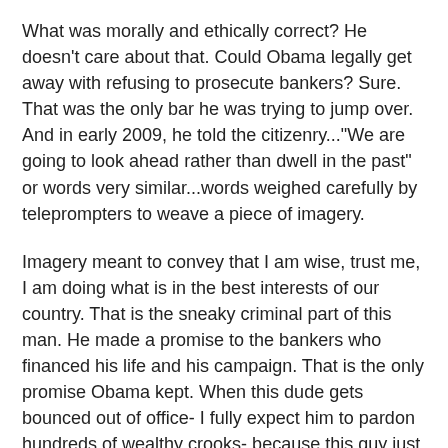What was morally and ethically correct? He doesn't care about that. Could Obama legally get away with refusing to prosecute bankers? Sure. That was the only bar he was trying to jump over. And in early 2009, he told the citizenry..."We are going to look ahead rather than dwell in the past" or words very similar...words weighed carefully by teleprompters to weave a piece of imagery.
Imagery meant to convey that I am wise, trust me, I am doing what is in the best interests of our country. That is the sneaky criminal part of this man. He made a promise to the bankers who financed his life and his campaign. That is the only promise Obama kept. When this dude gets bounced out of office- I fully expect him to pardon hundreds of wealthy crooks- because this guy just doesn't give a shit about doing the right thing. He doesn't even know what that is.
Jimmy Carter was ineffective- but he was no crook. Obama is in a class by himself.
And to this day, the chief executive has remained loyal to the bankers. Best read of the week, by my favorite writer, Matt